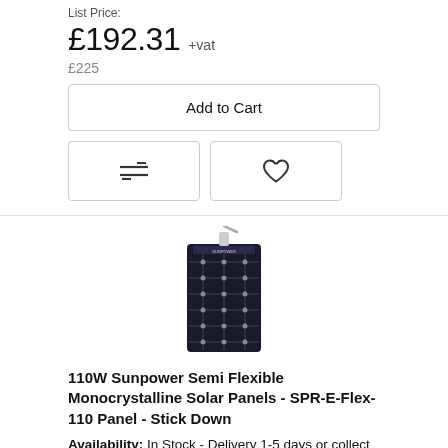List Price:
£192.31 +vat
£225
Add to Cart
[Figure (photo): Flexible monocrystalline solar panel, thin and dark, shown vertically with cable at top]
110W Sunpower Semi Flexible Monocrystalline Solar Panels - SPR-E-Flex-110 Panel - Stick Down
Availability: In Stock - Delivery 1-5 days or collect from Lewes
List Pri...